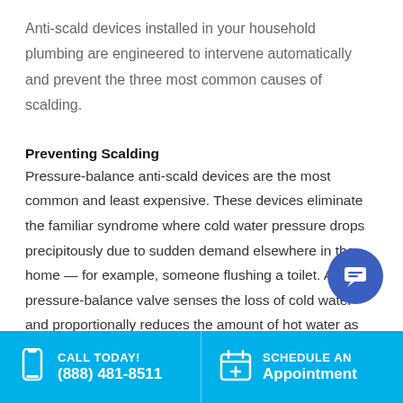Anti-scald devices installed in your household plumbing are engineered to intervene automatically and prevent the three most common causes of scalding.
Preventing Scalding
Pressure-balance anti-scald devices are the most common and least expensive. These devices eliminate the familiar syndrome where cold water pressure drops precipitously due to sudden demand elsewhere in the home — for example, someone flushing a toilet. A pressure-balance valve senses the loss of cold water and proportionally reduces the amount of hot water as well, preventing sudden
CALL TODAY! (888) 481-8511 | SCHEDULE AN Appointment